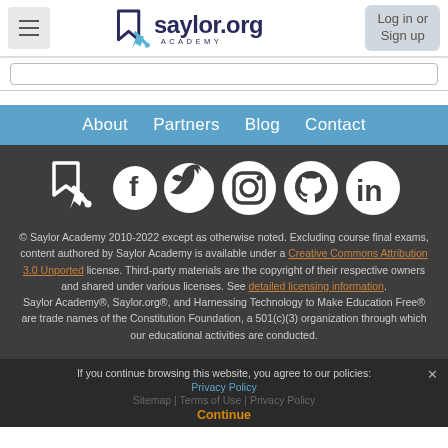Saylor Academy - Log in or Sign up
[Figure (screenshot): Saylor Academy logo with cursor icon and saylor.org academy text]
About Partners Blog Contact
[Figure (logo): Social media icons: Saylor, Facebook, Twitter, Instagram, GitHub, LinkedIn]
© Saylor Academy 2010-2022 except as otherwise noted. Excluding course final exams, content authored by Saylor Academy is available under a Creative Commons Attribution 3.0 Unported license. Third-party materials are the copyright of their respective owners and shared under various licenses. See detailed licensing information. Saylor Academy®, Saylor.org®, and Harnessing Technology to Make Education Free® are trade names of the Constitution Foundation, a 501(c)(3) organization through which our educational activities are conducted.
If you continue browsing this website, you agree to our policies: Privacy Policy | Sitemap | Terms of Use | Privacy Policy | Continue